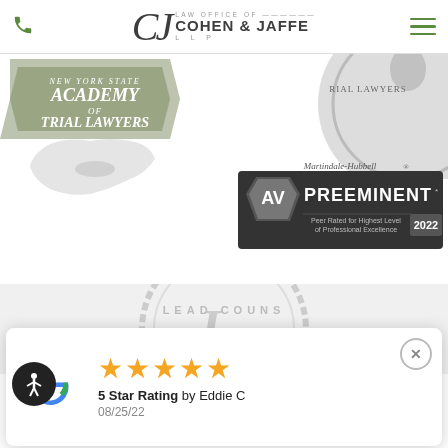[Figure (logo): Law Office of Cohen & Jaffe LLP logo with phone icon and hamburger menu in header]
[Figure (illustration): New York State Academy of Trial Lawyers badge (partially visible, top left)]
[Figure (illustration): Trial Lawyers badge/seal (partially visible, top right, circular medallion)]
[Figure (illustration): Martindale-Hubbell AV Preeminent Peer Rated for Highest Level of Professional Excellence 2022 badge]
[Figure (illustration): Lead Counsel watermark seal (large, grayscale, partially visible background)]
5 Star Rating by Eddie C
08/25/22